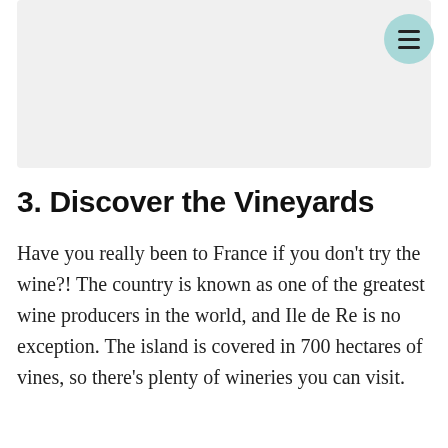[Figure (photo): Light gray placeholder image area representing a photo, with a teal/turquoise circular menu button in the top-right corner containing three horizontal lines (hamburger menu icon).]
3. Discover the Vineyards
Have you really been to France if you don't try the wine?! The country is known as one of the greatest wine producers in the world, and Ile de Re is no exception. The island is covered in 700 hectares of vines, so there's plenty of wineries you can visit.